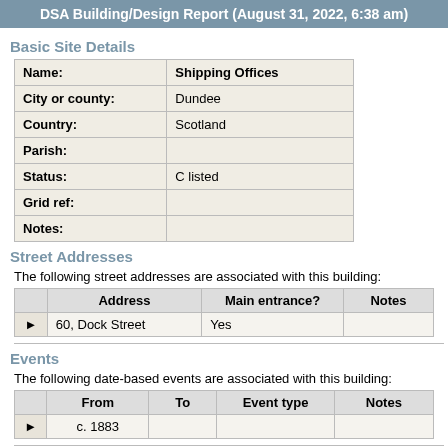DSA Building/Design Report (August 31, 2022, 6:38 am)
Basic Site Details
| Field | Value |
| --- | --- |
| Name: | Shipping Offices |
| City or county: | Dundee |
| Country: | Scotland |
| Parish: |  |
| Status: | C listed |
| Grid ref: |  |
| Notes: |  |
Street Addresses
The following street addresses are associated with this building:
|  | Address | Main entrance? | Notes |
| --- | --- | --- | --- |
| ▶ | 60, Dock Street | Yes |  |
Events
The following date-based events are associated with this building:
|  | From | To | Event type | Notes |
| --- | --- | --- | --- | --- |
| ▶ | c. 1883 |  |  |  |